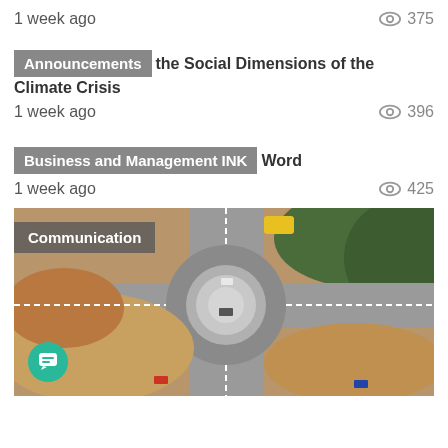1 week ago
375
Announcements
the Social Dimensions of the Climate Crisis
1 week ago
396
Business and Management INK
Word
1 week ago
425
[Figure (photo): Aerial view of a roundabout intersection under construction, with several cars visible and surrounding brown/green terrain.]
Communication